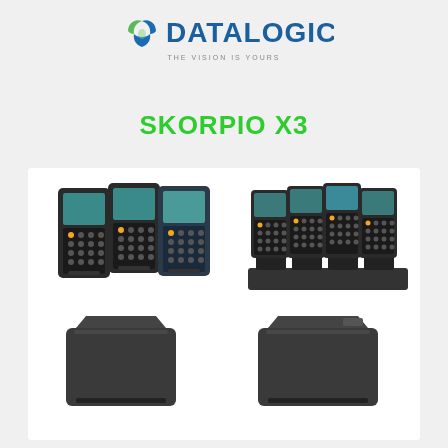[Figure (logo): Datalogic logo with blue leaf/arrow icon and blue bold text DATALOGIC, tagline THE VISION IS YOURS in grey]
SKORPIO X3
[Figure (photo): Product photo of Datalogic Skorpio X3 handheld mobile computers and accessories: three handheld devices shown on left, four devices in a charging dock on right, two battery/cradle accessories shown below]